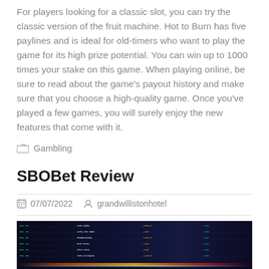For players looking for a classic slot, you can try the classic version of the fruit machine. Hot to Burn has five paylines and is ideal for old-timers who want to play the game for its high prize potential. You can win up to 1000 times your stake on this game. When playing online, be sure to read about the game’s payout history and make sure that you choose a high-quality game. Once you’ve played a few games, you will surely enjoy the new features that come with it.
Gambling
SBOBet Review
07/07/2022   grandwillistonhotel
[Figure (photo): A dark sports betting board displaying odds and game listings with green and white text on a dark background, with colorful light streaks at the bottom.]